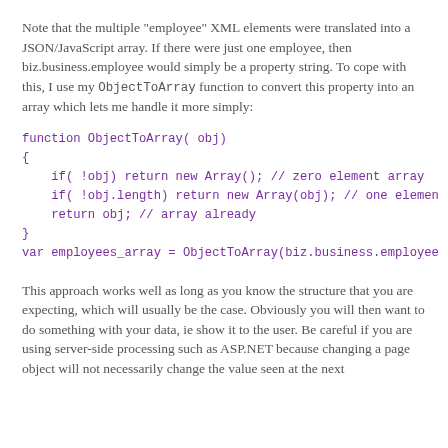Note that the multiple "employee" XML elements were translated into a JSON/JavaScript array. If there were just one employee, then biz.business.employee would simply be a property string. To cope with this, I use my ObjectToArray function to convert this property into an array which lets me handle it more simply:
function ObjectToArray( obj)
{
    if( !obj) return new Array(); // zero element array
    if( !obj.length) return new Array(obj); // one element array
    return obj; // array already
}
var employees_array = ObjectToArray(biz.business.employee
This approach works well as long as you know the structure that you are expecting, which will usually be the case. Obviously you will then want to do something with your data, ie show it to the user. Be careful if you are using server-side processing such as ASP.NET because changing a page object will not necessarily change the value seen at the next